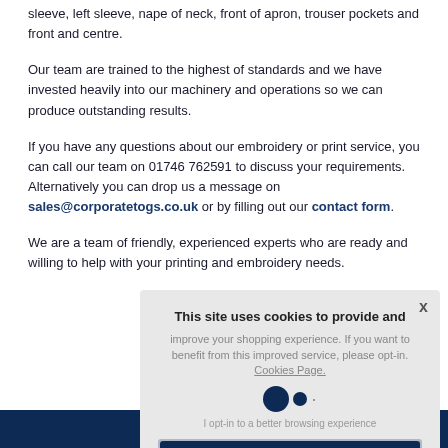sleeve, left sleeve, nape of neck, front of apron, trouser pockets and front and centre.
Our team are trained to the highest of standards and we have invested heavily into our machinery and operations so we can produce outstanding results.
If you have any questions about our embroidery or print service, you can call our team on 01746 762591 to discuss your requirements. Alternatively you can drop us a message on sales@corporatetogs.co.uk or by filling out our contact form.
We are a team of friendly, experienced experts who are ready and willing to help with your printing and embroidery needs.
[Figure (screenshot): Cookie consent overlay dialog with toggle, accept cookies button, and close X. Text reads: This site uses cookies to provide and improve your shopping experience. If you want to benefit from this improved service, please opt-in. Cookies Page. I opt-in to a better browsing experience. ACCEPT COOKIES button.]